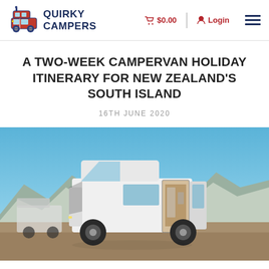Quirky Campers — $0.00 | Login
A TWO-WEEK CAMPERVAN HOLIDAY ITINERARY FOR NEW ZEALAND'S SOUTH ISLAND
16TH JUNE 2020
[Figure (photo): A white high-roof campervan with sliding door open, parked in front of a mountain range under a blue sky.]